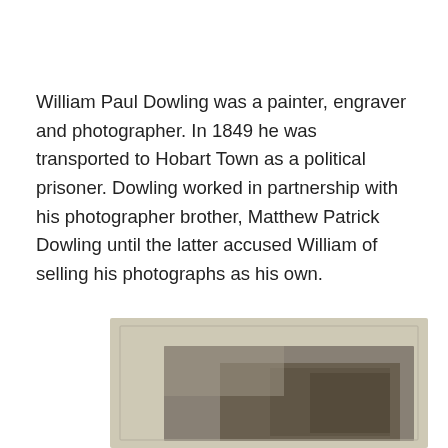William Paul Dowling was a painter, engraver and photographer. In 1849 he was transported to Hobart Town as a political prisoner. Dowling worked in partnership with his photographer brother, Matthew Patrick Dowling until the latter accused William of selling his photographs as his own.
[Figure (photo): A partially visible old photograph mounted on card, showing a studio portrait photograph. The image is cropped at the bottom of the page, revealing the cardboard mount border and a dark photographic portrait area.]